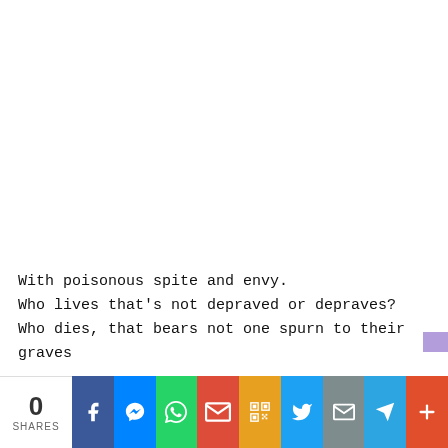With poisonous spite and envy.
Who lives that's not depraved or depraves?
Who dies, that bears not one spurn to their graves
0 SHARES | Facebook | Messenger | WhatsApp | Gmail | QR | Twitter | Email | Telegram | More